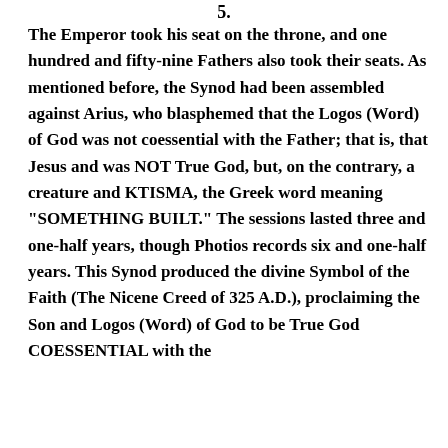5.
The Emperor took his seat on the throne, and one hundred and fifty-nine Fathers also took their seats. As mentioned before, the Synod had been assembled against Arius, who blasphemed that the Logos (Word) of God was not coessential with the Father; that is, that Jesus and was NOT True God, but, on the contrary, a creature and KTISMA, the Greek word meaning "SOMETHING BUILT." The sessions lasted three and one-half years, though Photios records six and one-half years. This Synod produced the divine Symbol of the Faith (The Nicene Creed of 325 A.D.), proclaiming the Son and Logos (Word) of God to be True God COESSENTIAL with the